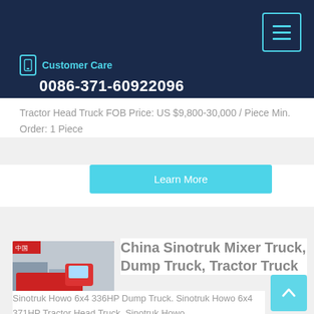Customer Care
0086-371-60922096
Tractor Head Truck FOB Price: US $9,800-30,000 / Piece Min. Order: 1 Piece
Learn More
China Sinotruk Mixer Truck, Dump Truck, Tractor Truck
Sinotruk Howo 6x4 336HP Dump Truck. Sinotruk Howo 6x4 371HP Tractor Head Truck. Sinotruk Howo